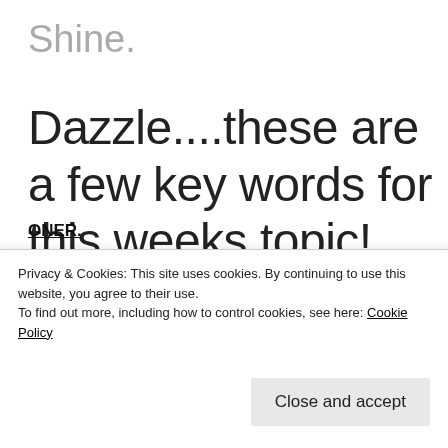Shine.
Dazzle....these are a few key words for this weeks topic!
Are you getting those last minute texts to meet your friends at a fun holiday cocktail party?  Thought so..and you may only have 5 minutes to add some glam + sparkle to the outfit you've had on all
Privacy & Cookies: This site uses cookies. By continuing to use this website, you agree to their use.
To find out more, including how to control cookies, see here: Cookie Policy
Close and accept
ONER.